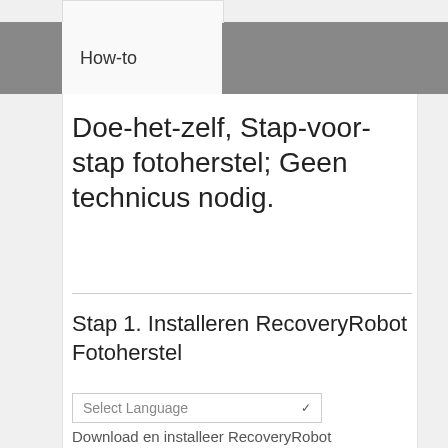How-to
Doe-het-zelf, Stap-voor-stap fotoherstel; Geen technicus nodig.
Stap 1. Installeren RecoveryRobot Fotoherstel
Select Language
Download en installeer RecoveryRobot